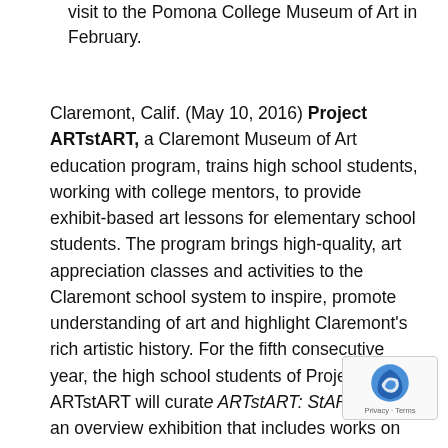visit to the Pomona College Museum of Art in February.
Claremont, Calif. (May 10, 2016) Project ARTstART, a Claremont Museum of Art education program, trains high school students, working with college mentors, to provide exhibit-based art lessons for elementary school students. The program brings high-quality, art appreciation classes and activities to the Claremont school system to inspire, promote understanding of art and highlight Claremont's rich artistic history. For the fifth consecutive year, the high school students of Project ARTstART will curate ARTstART: StART It Up, an overview exhibition that includes works on paper